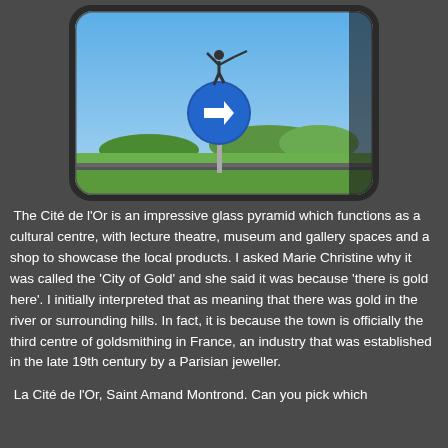[Figure (photo): A car side mirror reflecting a sculpture of a human figure with arms outstretched, standing atop a blue circular directional road sign with a right arrow, against a blue sky with green landscape in the background.]
The Cité de l'Or is an impressive glass pyramid which functions as a cultural centre, with lecture theatre, museum and gallery spaces and a shop to showcase the local products. I asked Marie Christine why it was called the 'City of Gold' and she said it was because 'there is gold here'. I initially interpreted that as meaning that there was gold in the river or surrounding hills. In fact, it is because the town is officially the third centre of goldsmithing in France, an industry that was established in the late 19th century by a Parisian jeweller.
La Cité de l'Or, Saint Amand Montrond. Can you pick which